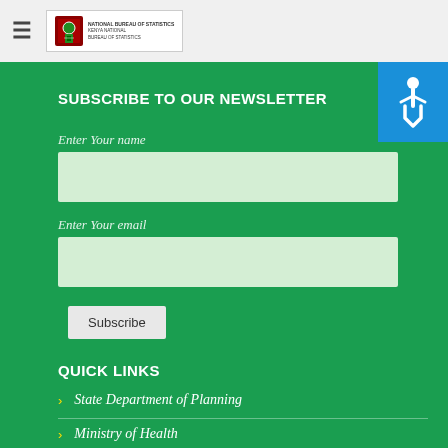Navigation header with hamburger menu and government logo
[Figure (logo): Government of Kenya logo with emblem and text]
[Figure (other): Accessibility icon (wheelchair symbol) on blue background]
SUBSCRIBE TO OUR NEWSLETTER
Enter Your name
Enter Your email
Subscribe
QUICK LINKS
State Department of Planning
Ministry of Health
KNBS